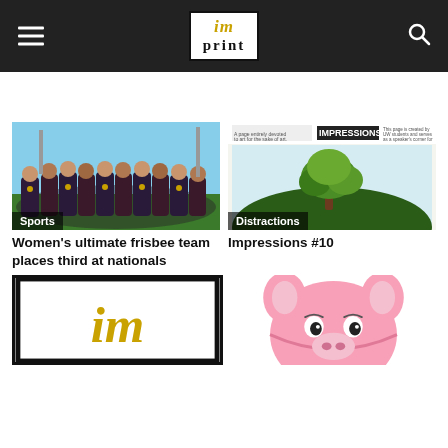imprint
[Figure (photo): Photo of women's ultimate frisbee team posing together wearing dark jerseys with medals, on a sports field. Badge: Sports]
Women's ultimate frisbee team places third at nationals
[Figure (photo): Impressions #10 newspaper page showing a watercolor illustration of a tree on a hill. Badge: Distractions]
Impressions #10
[Figure (logo): imprint logo in a black frame with italic 'im' in gold]
[Figure (illustration): Cartoon pink pig character illustration]